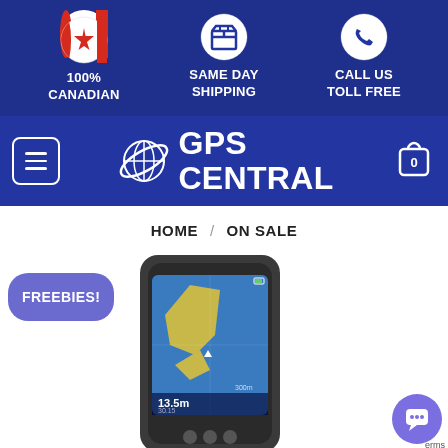[Figure (infographic): Top banner with three icons: Canadian flag circle, shipping box circle, phone circle. Text below each: 100% CANADIAN, SAME DAY SHIPPING, CALL US TOLL FREE on dark blue background.]
[Figure (logo): GPS Central logo with globe and orbit ring icon, white text reading GPS CENTRAL, on dark blue navigation bar. Also includes hamburger menu button on left and shopping cart with 0 badge on right.]
HOME / ON SALE
[Figure (infographic): FREEBIES! badge (rounded purple rectangle) overlaid on product area. Partially visible GPS/fishfinder device image showing map display with 13.5m depth reading. Chat support bubble icon bottom right.]